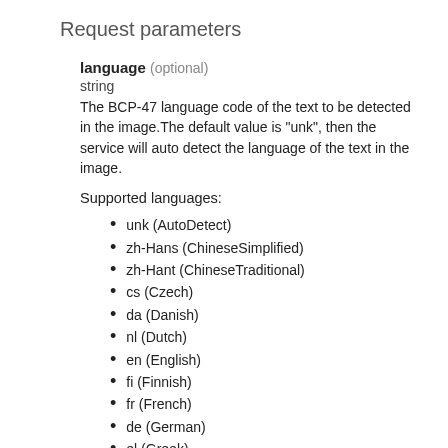Request parameters
language (optional)
string
The BCP-47 language code of the text to be detected in the image.The default value is "unk", then the service will auto detect the language of the text in the image.
Supported languages:
unk (AutoDetect)
zh-Hans (ChineseSimplified)
zh-Hant (ChineseTraditional)
cs (Czech)
da (Danish)
nl (Dutch)
en (English)
fi (Finnish)
fr (French)
de (German)
el (Greek)
hu (Hungarian)